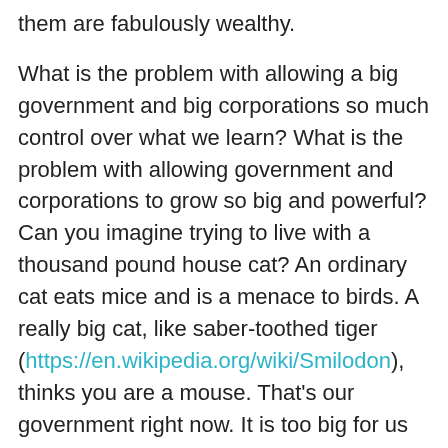them are fabulously wealthy.

What is the problem with allowing a big government and big corporations so much control over what we learn? What is the problem with allowing government and corporations to grow so big and powerful? Can you imagine trying to live with a thousand pound house cat? An ordinary cat eats mice and is a menace to birds. A really big cat, like saber-toothed tiger (https://en.wikipedia.org/wiki/Smilodon), thinks you are a mouse. That's our government right now. It is too big for us too control. Want proof? All we have to do is look at what is going on. Similarly, big corporations, labor unions, huge organizations of any kind, can weld power that beyond the our ability to withstand. When we allow the elites of our society to control what we and our children know